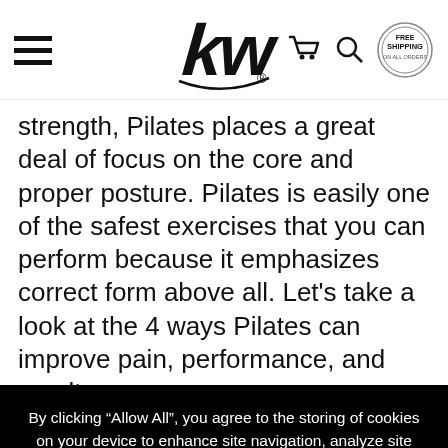Navigation bar with hamburger menu, logo, cart icon, search icon, and free shipping badge
strength, Pilates places a great deal of focus on the core and proper posture. Pilates is easily one of the safest exercises that you can perform because it emphasizes correct form above all. Let's take a look at the 4 ways Pilates can improve pain, performance, and results.
By clicking “Allow All”, you agree to the storing of cookies on your device to enhance site navigation, analyze site usage, and assist in our marketing efforts. Learn more
Allow All
Disable All